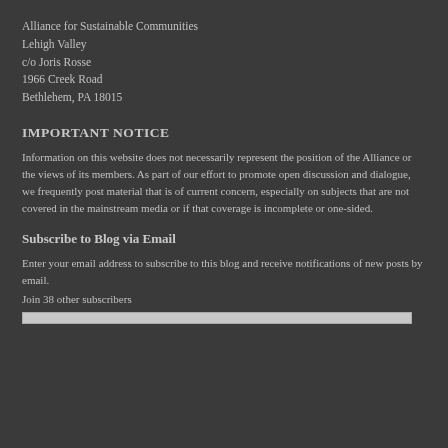Alliance for Sustainable Communities
Lehigh Valley
c/o Joris Rosse
1966 Creek Road
Bethlehem, PA 18015
IMPORTANT NOTICE
Information on this website does not necessarily represent the position of the Alliance or the views of its members. As part of our effort to promote open discussion and dialogue, we frequently post material that is of current concern, especially on subjects that are not covered in the mainstream media or if that coverage is incomplete or one-sided.
Subscribe to Blog via Email
Enter your email address to subscribe to this blog and receive notifications of new posts by email.
Join 38 other subscribers